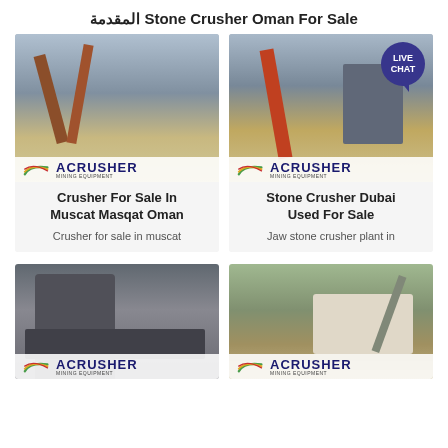Stone Crusher Oman For Sale المقدمة
[Figure (photo): Stone crusher/mining plant with conveyor belts and industrial equipment. ACRUSHER MINING EQUIPMENT logo overlay.]
[Figure (photo): Stone crusher plant with tall conveyor structure and warehouse building. ACRUSHER MINING EQUIPMENT logo overlay. Live Chat bubble in top right.]
Crusher For Sale In Muscat Masqat Oman
Crusher for sale in muscat
Stone Crusher Dubai Used For Sale
Jaw stone crusher plant in
[Figure (photo): Industrial crusher/milling facility with vertical equipment and walkways. ACRUSHER MINING EQUIPMENT logo overlay.]
[Figure (photo): Outdoor stone crusher site with conveyor belt and storage tanks. ACRUSHER MINING EQUIPMENT logo overlay.]